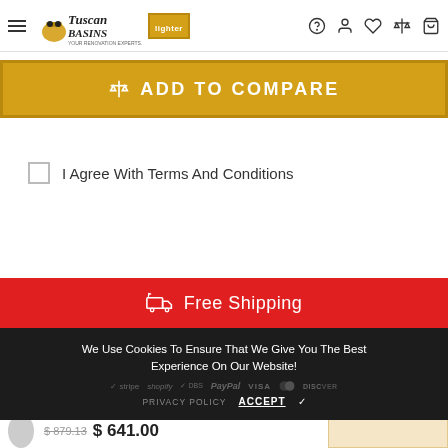Tuscan Basins — navigation header with logo and icons
ADD TO COMPARE
I Agree With Terms And Conditions
Free Shipping
We Use Cookies To Ensure That We Give You The Best Experience On Our Website!
PRIVACY POLICY  ACCEPT ✓
$879.13  $641.00